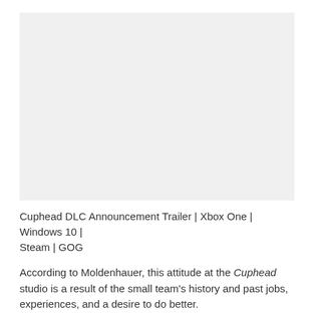[Figure (screenshot): Embedded video placeholder area for the Cuphead DLC Announcement Trailer]
Cuphead DLC Announcement Trailer | Xbox One | Windows 10 | Steam | GOG
According to Moldenhauer, this attitude at the Cuphead studio is a result of the small team's history and past jobs, experiences, and a desire to do better.